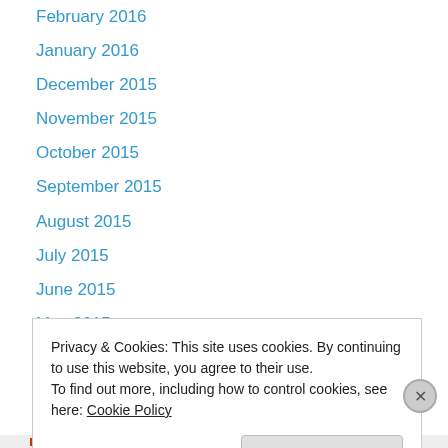February 2016
January 2016
December 2015
November 2015
October 2015
September 2015
August 2015
July 2015
June 2015
May 2015
Categories
Privacy & Cookies: This site uses cookies. By continuing to use this website, you agree to their use.
To find out more, including how to control cookies, see here: Cookie Policy